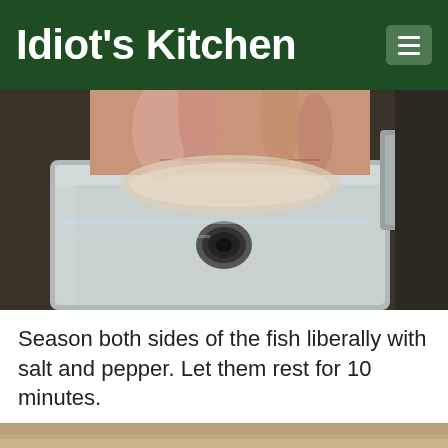Idiot's Kitchen
[Figure (photo): A hand holding a fish fillet over a stainless steel kitchen sink with a drain visible in the center.]
Season both sides of the fish liberally with salt and pepper. Let them rest for 10 minutes.
[Figure (photo): Partial view of a surface at bottom of page.]